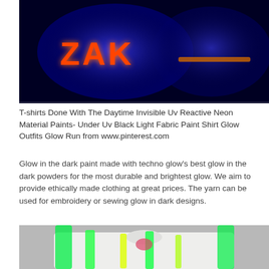[Figure (photo): Photo of two t-shirts under UV black light, showing glowing orange text 'ZAK' and blue glow on dark background]
T-shirts Done With The Daytime Invisible Uv Reactive Neon Material Paints- Under Uv Black Light Fabric Paint Shirt Glow Outfits Glow Run from www.pinterest.com
Glow in the dark paint made with techno glow’s best glow in the dark powders for the most durable and brightest glow. We aim to provide ethically made clothing at great prices. The yarn can be used for embroidery or sewing glow in dark designs.
[Figure (photo): Photo of a white t-shirt with neon green and yellow glow-in-the-dark paint drips/stripes, laid flat on a surface]